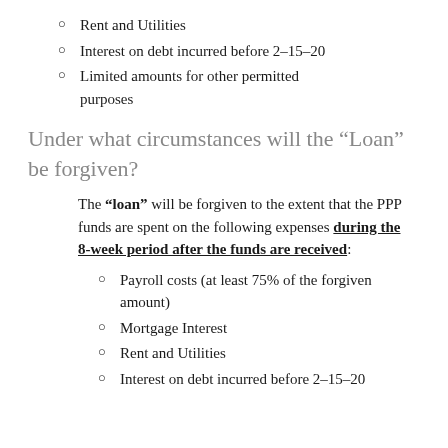Rent and Utilities
Interest on debt incurred before 2–15–20
Limited amounts for other permitted purposes
Under what circumstances will the “Loan” be forgiven?
The “loan” will be forgiven to the extent that the PPP funds are spent on the following expenses during the 8-week period after the funds are received:
Payroll costs (at least 75% of the forgiven amount)
Mortgage Interest
Rent and Utilities
Interest on debt incurred before 2–15–20